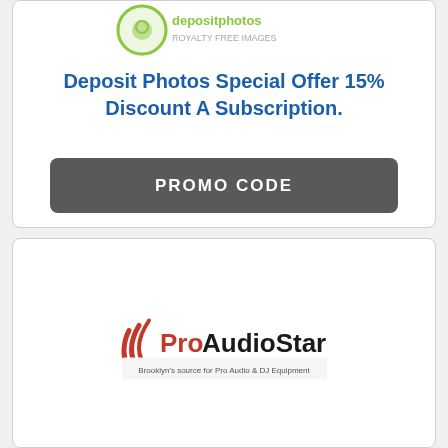[Figure (logo): DepositPhotos logo - green circular camera icon with text depositphotos]
Deposit Photos Special Offer 15% Discount A Subscription.
PROMO CODE
[Figure (logo): ProAudioStar logo - red curved lines with black text ProAudioStar, tagline Brooklyn's source for Pro Audio & DJ Equipment]